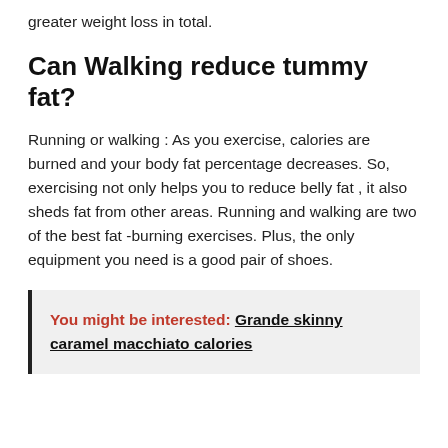greater weight loss in total.
Can Walking reduce tummy fat?
Running or walking : As you exercise, calories are burned and your body fat percentage decreases. So, exercising not only helps you to reduce belly fat , it also sheds fat from other areas. Running and walking are two of the best fat -burning exercises. Plus, the only equipment you need is a good pair of shoes.
You might be interested:  Grande skinny caramel macchiato calories